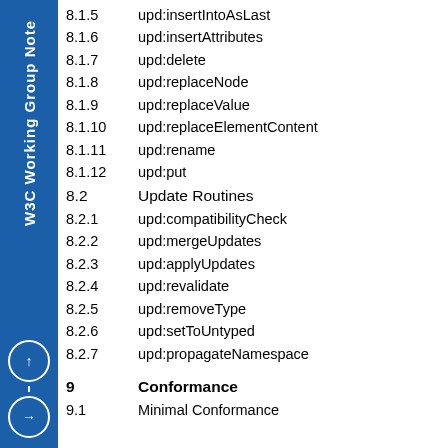W3C Working Group Note
8.1.5    upd:insertIntoAsLast
8.1.6    upd:insertAttributes
8.1.7    upd:delete
8.1.8    upd:replaceNode
8.1.9    upd:replaceValue
8.1.10   upd:replaceElementContent
8.1.11   upd:rename
8.1.12   upd:put
8.2      Update Routines
8.2.1    upd:compatibilityCheck
8.2.2    upd:mergeUpdates
8.2.3    upd:applyUpdates
8.2.4    upd:revalidate
8.2.5    upd:removeType
8.2.6    upd:setToUntyped
8.2.7    upd:propagateNamespace
9        Conformance
9.1      Minimal Conformance